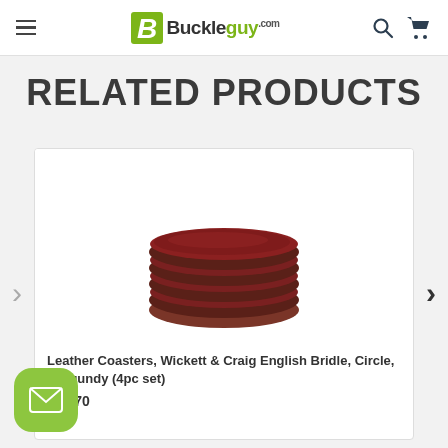Buckleguy.com
RELATED PRODUCTS
[Figure (photo): Stack of round dark burgundy leather coasters, 4 pieces fanned out slightly]
Leather Coasters, Wickett & Craig English Bridle, Circle, Burgundy (4pc set)
$10.70